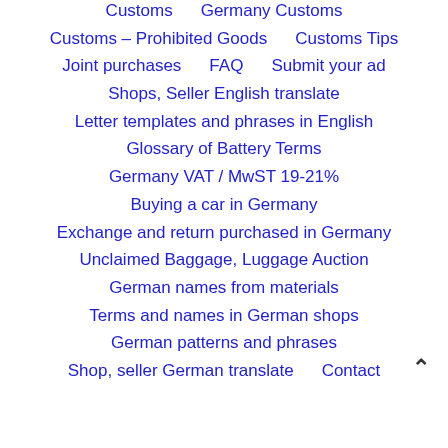Customs   Germany Customs
Customs – Prohibited Goods   Customs Tips
Joint purchases   FAQ   Submit your ad
Shops, Seller English translate
Letter templates and phrases in English
Glossary of Battery Terms
Germany VAT / MwST 19-21%
Buying a car in Germany
Exchange and return purchased in Germany
Unclaimed Baggage, Luggage Auction
German names from materials
Terms and names in German shops
German patterns and phrases
Shop, seller German translate   Contact